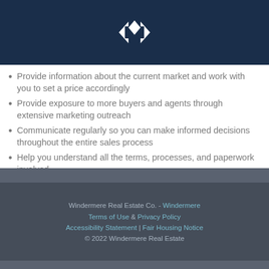[Figure (logo): Windermere Real Estate logo — white diamond/arrow chevron icon on dark navy background]
Provide information about the current market and work with you to set a price accordingly
Provide exposure to more buyers and agents through extensive marketing outreach
Communicate regularly so you can make informed decisions throughout the entire sales process
Help you understand all the terms, processes, and paperwork involved
Serve as your advocate and negotiate the most favorable terms from pricing to closing
Provide you with a peace-of-mind that all details are being handled in a professional and efficient manner
Windermere Real Estate Co. - Windermere
Terms of Use  &  Privacy Policy
Accessibility Statement | Fair Housing Notice
© 2022 Windermere Real Estate